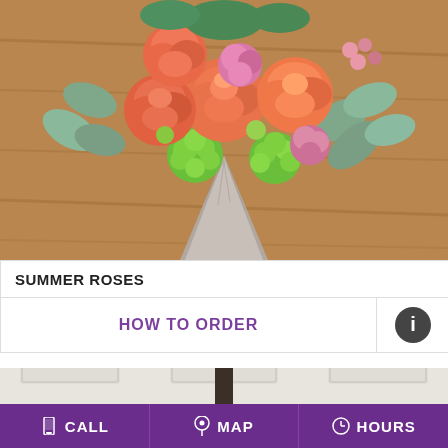[Figure (photo): A bouquet of orange/coral roses and pink flowers with green chrysanthemums and eucalyptus leaves, arranged in a cone-shaped grey vase on a wooden surface.]
SUMMER ROSES
HOW TO ORDER
[Figure (photo): Interior scene showing tall white pillar candles on black candle holders in front of a white paneled wall with ornate crown molding. Wall sconces visible on sides.]
CALL   MAP   HOURS